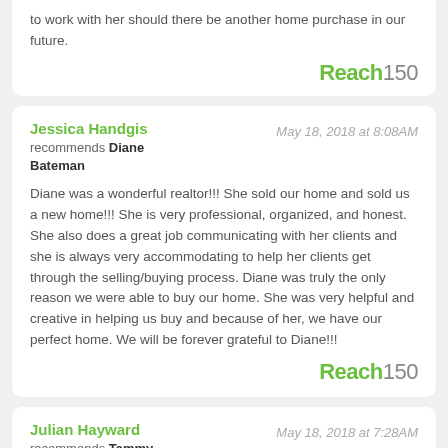to work with her should there be another home purchase in our future.
[Figure (logo): Reach150 logo in green and gray]
Jessica Handgis recommends Diane Bateman — May 18, 2018 at 8:08AM
Diane was a wonderful realtor!!! She sold our home and sold us a new home!!! She is very professional, organized, and honest. She also does a great job communicating with her clients and she is always very accommodating to help her clients get through the selling/buying process. Diane was truly the only reason we were able to buy our home. She was very helpful and creative in helping us buy and because of her, we have our perfect home. We will be forever grateful to Diane!!!
[Figure (logo): Reach150 logo in green and gray]
Julian Hayward recommends Tammy Dillashaw — May 18, 2018 at 7:28AM